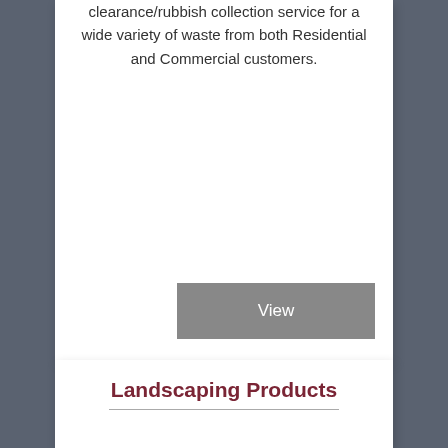clearance/rubbish collection service for a wide variety of waste from both Residential and Commercial customers.
View
Landscaping Products